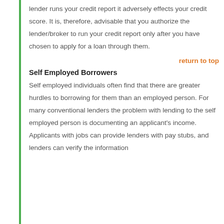lender runs your credit report it adversely effects your credit score. It is, therefore, advisable that you authorize the lender/broker to run your credit report only after you have chosen to apply for a loan through them.
return to top
Self Employed Borrowers
Self employed individuals often find that there are greater hurdles to borrowing for them than an employed person. For many conventional lenders the problem with lending to the self employed person is documenting an applicant's income. Applicants with jobs can provide lenders with pay stubs, and lenders can verify the information